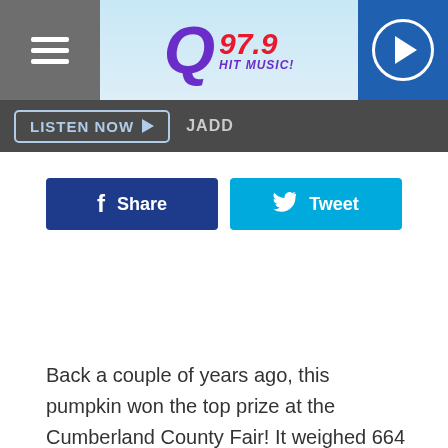[Figure (logo): Q97.9 Hit Music radio station logo with hamburger menu icon on left and play button on right]
LISTEN NOW  JADD
[Figure (infographic): Facebook Share button (dark blue) and Twitter Tweet button (cyan blue) side by side]
Back a couple of years ago, this pumpkin won the top prize at the Cumberland County Fair! It weighed 664 pounds and is